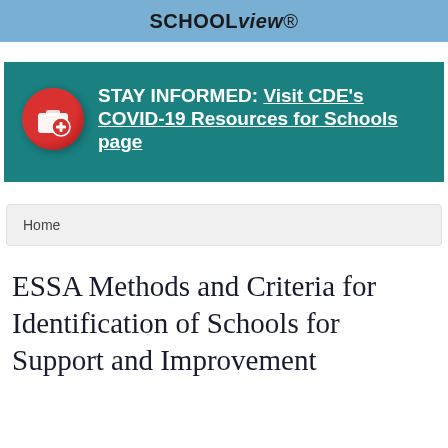SCHOOLview®
[Figure (infographic): Teal banner with a red medical kit icon circle on the left, and bold white text reading: STAY INFORMED: Visit CDE's COVID-19 Resources for Schools page]
Home
ESSA Methods and Criteria for Identification of Schools for Support and Improvement